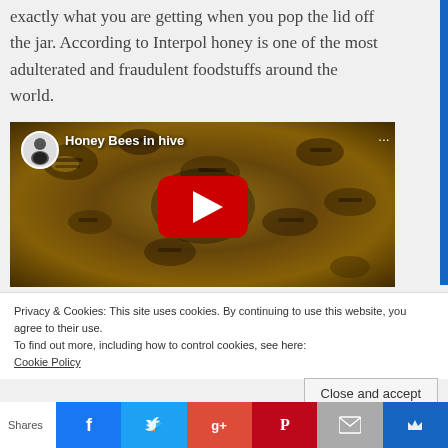exactly what you are getting when you pop the lid off the jar. According to Interpol honey is one of the most adulterated and fraudulent foodstuffs around the world.
[Figure (screenshot): YouTube video thumbnail showing 'Honey Bees in hive' with honeybees on comb, red play button in center, channel icon in top-left corner]
Privacy & Cookies: This site uses cookies. By continuing to use this website, you agree to their use.
To find out more, including how to control cookies, see here:
Cookie Policy
Close and accept
Shares [Facebook] [Twitter] [Google+] [Pinterest] [Email] [WordPress]